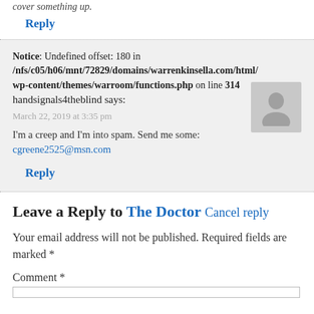cover something up.
Reply
Notice: Undefined offset: 180 in /nfs/c05/h06/mnt/72829/domains/warrenkinsella.com/html/wp-content/themes/warroom/functions.php on line 314
handsignals4theblind says:
March 22, 2019 at 3:35 pm
I'm a creep and I'm into spam. Send me some: cgreene2525@msn.com
Reply
Leave a Reply to The Doctor Cancel reply
Your email address will not be published. Required fields are marked *
Comment *